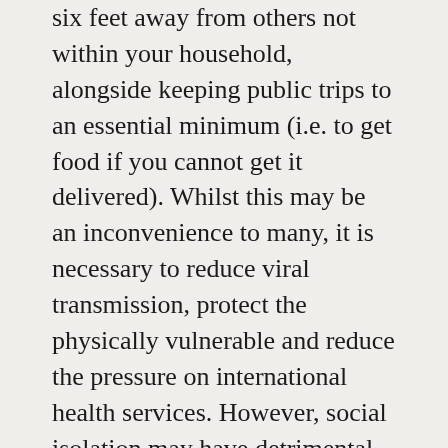six feet away from others not within your household, alongside keeping public trips to an essential minimum (i.e. to get food if you cannot get it delivered). Whilst this may be an inconvenience to many, it is necessary to reduce viral transmission, protect the physically vulnerable and reduce the pressure on international health services. However, social isolation may have detrimental effects to those who are psychologically vulnerable; a category that I myself unquestionably fall into.
Social isolation has definitely led to serious consequences. However, in psychology the term 'social isolation' is difficult to define. What matters the most is whether an individual actually feels lonely. Scientists have coined this 'perceived social isolation', which can have negative effects both physically and psychologically. In young adults (18-27